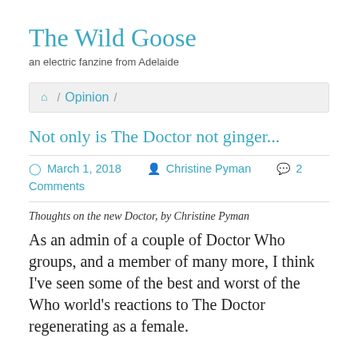The Wild Goose
an electric fanzine from Adelaide
🏠 / Opinion /
Not only is The Doctor not ginger...
March 1, 2018  Christine Pyman  2 Comments
Thoughts on the new Doctor, by Christine Pyman
As an admin of a couple of Doctor Who groups, and a member of many more, I think I've seen some of the best and worst of the Who world's reactions to The Doctor regenerating as a female.